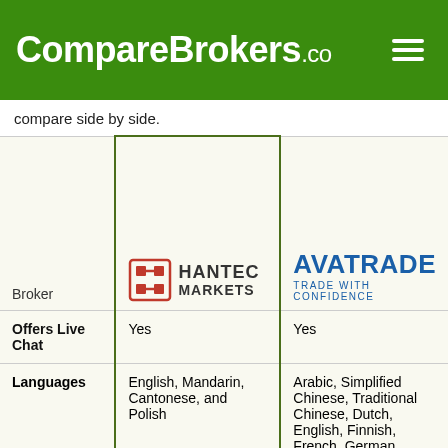CompareBrokers.co
compare side by side.
| Broker | Hantec Markets | AvaTrade |
| --- | --- | --- |
| Offers Live Chat | Yes | Yes |
| Languages | English, Mandarin, Cantonese, and Polish | Arabic, Simplified Chinese, Traditional Chinese, Dutch, English, Finnish, French, German, Hungarian, |